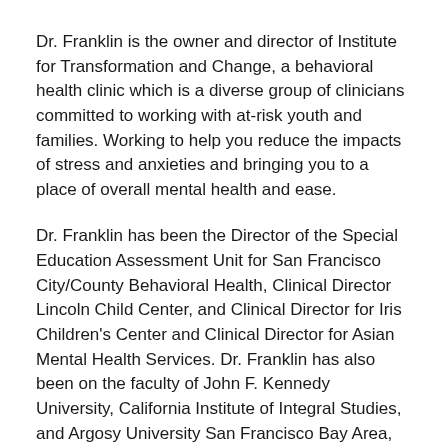Dr. Franklin is the owner and director of Institute for Transformation and Change, a behavioral health clinic which is a diverse group of clinicians committed to working with at-risk youth and families. Working to help you reduce the impacts of stress and anxieties and bringing you to a place of overall mental health and ease.
Dr. Franklin has been the Director of the Special Education Assessment Unit for San Francisco City/County Behavioral Health, Clinical Director Lincoln Child Center, and Clinical Director for Iris Children's Center and Clinical Director for Asian Mental Health Services. Dr. Franklin has also been on the faculty of John F. Kennedy University, California Institute of Integral Studies, and Argosy University San Francisco Bay Area, where she taught in the Counseling Psychology Master's and Doctoral Clinical and Forensic Psychology programs.